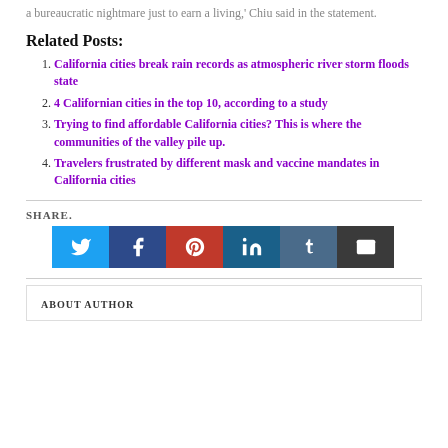a bureaucratic nightmare just to earn a living,' Chiu said in the statement.
Related Posts:
California cities break rain records as atmospheric river storm floods state
4 Californian cities in the top 10, according to a study
Trying to find affordable California cities? This is where the communities of the valley pile up.
Travelers frustrated by different mask and vaccine mandates in California cities
SHARE.
[Figure (other): Social share buttons for Twitter, Facebook, Pinterest, LinkedIn, Tumblr, and Email]
ABOUT AUTHOR